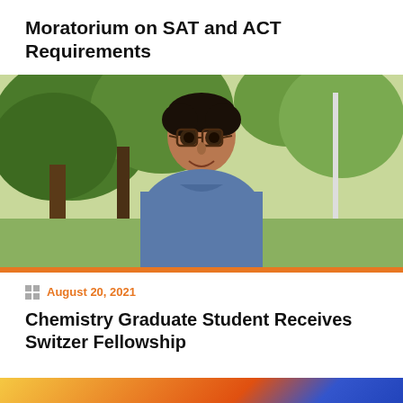Moratorium on SAT and ACT Requirements
[Figure (photo): Young man with glasses wearing a blue t-shirt, smiling outdoors with trees in background]
August 20, 2021
Chemistry Graduate Student Receives Switzer Fellowship